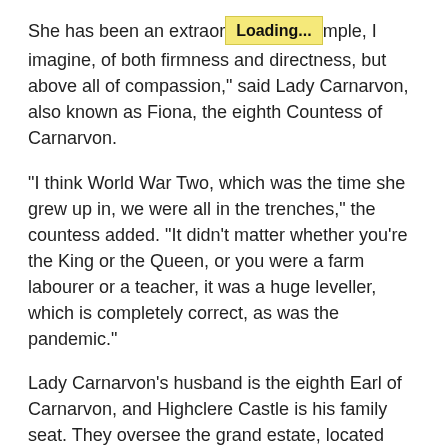She has been an extraordinary example, I imagine, of both firmness and directness, but above all of compassion," said Lady Carnarvon, also known as Fiona, the eighth Countess of Carnarvon.
"I think World War Two, which was the time she grew up in, we were all in the trenches," the countess added. "It didn't matter whether you're the King or the Queen, or you were a farm labourer or a teacher, it was a huge leveller, which is completely correct, as was the pandemic."
Lady Carnarvon's husband is the eighth Earl of Carnarvon, and Highclere Castle is his family seat. They oversee the grand estate, located 100 kiilometres west of London, which was the primary filming location for all six seasons of Downton Abbey, plus two movies based on the series. The latest film was released in Canada on May 20.